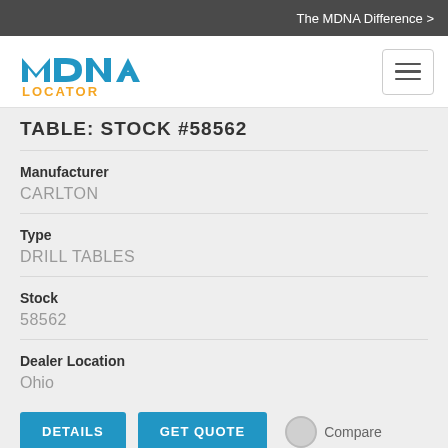The MDNA Difference >
[Figure (logo): MDNA Locator logo — blue stylized lettering with orange 'LOCATOR' text below]
TABLE: STOCK #58562
Manufacturer
CARLTON
Type
DRILL TABLES
Stock
58562
Dealer Location
Ohio
DETAILS  GET QUOTE  Compare